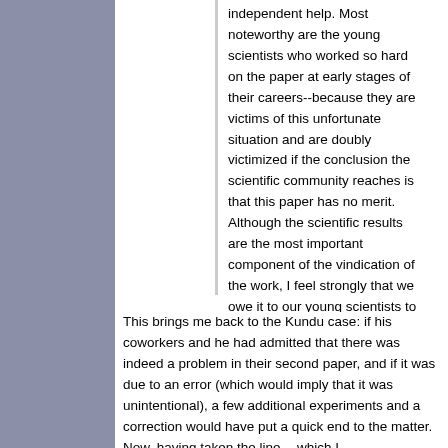independent help. Most noteworthy are the young scientists who worked so hard on the paper at early stages of their careers--because they are victims of this unfortunate situation and are doubly victimized if the conclusion the scientific community reaches is that this paper has no merit. Although the scientific results are the most important component of the vindication of the work, I feel strongly that we owe it to our young scientists to draw attention to the verification.
This brings me back to the Kundu case: if his coworkers and he had admitted that there was indeed a problem in their second paper, and if it was due to an error (which would imply that it was unintentional), a few additional experiments and a correction would have put a quick end to the matter. Now, having taken the line -- which I